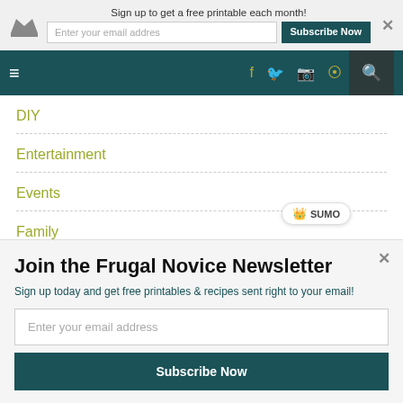Sign up to get a free printable each month!
Enter your email addres
Subscribe Now
DIY
Entertainment
Events
Family
Food
Join the Frugal Novice Newsletter
Sign up today and get free printables & recipes sent right to your email!
Enter your email address
Subscribe Now